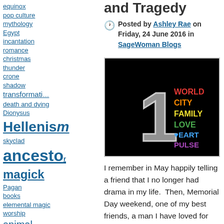equinox
pop culture
mythology
Egypt
incantation
romance
christmas
thunder
crone
shadow
transformation
death and dying
Dionysus
Hellenism
skyclad
ancestors
magick
Pagan
books
elemental magic
worship
animal teachers
nature
religion
humor
hedge witchcraft
Underworld
Parenting
Patriarchy
labyrinth
friendship
canada
and Tragedy
Posted by Ashley Rae on Friday, 24 June 2016 in SageWoman Blogs
[Figure (photo): Black background image with a large chalk-drawn number 1, and colored text listing: WORLD (red), CITY (orange), FAMILY (yellow), LOVE (green), HEART (blue), PULSE (purple)]
I remember in May happily telling a friend that I no longer had drama in my life.  Then, Memorial Day weekend, one of my best friends, a man I have loved for 23 years, dropped a drama-bomb on me that shattered my heart.  A week later, he texted me that he was killing himself, and I scrambled to get him help.  Before I could recover from either,